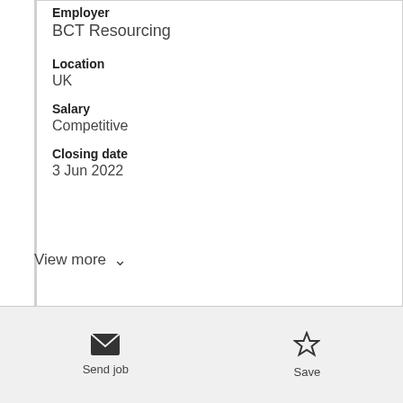Employer
BCT Resourcing
Location
UK
Salary
Competitive
Closing date
3 Jun 2022
View more
Send job
Save